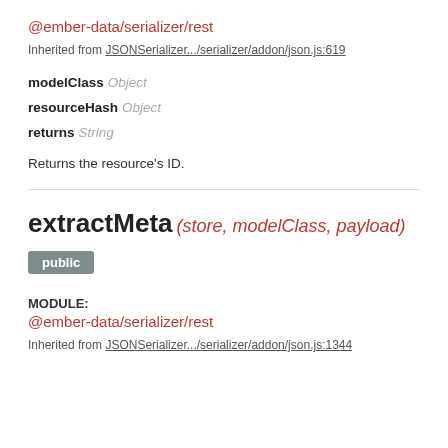@ember-data/serializer/rest
Inherited from JSONSerializer.../serializer/addon/json.js:619
modelClass Object
resourceHash Object
returns String
Returns the resource's ID.
extractMeta (store, modelClass, payload)
public
MODULE:
@ember-data/serializer/rest
Inherited from JSONSerializer.../serializer/addon/json.js:1344